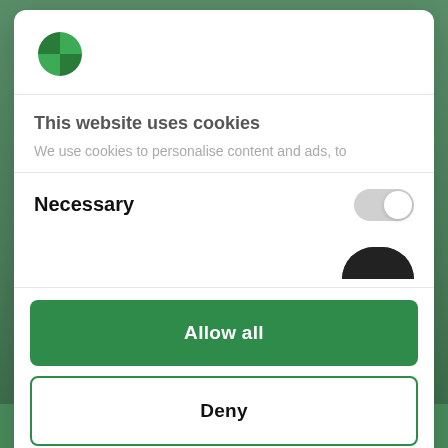[Figure (logo): Green quarter-circle logo (Cookiebot/Usercentrics brand logo)]
This website uses cookies
We use cookies to personalise content and ads, to
Necessary
[Figure (other): Toggle switch in off/gray state for Necessary cookies]
[Figure (other): Partially visible dark toggle switch]
Allow all
Deny
Powered by Cookiebot by Usercentrics
foot malpositions